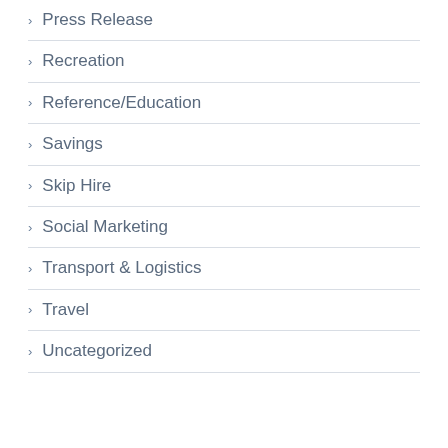Press Release
Recreation
Reference/Education
Savings
Skip Hire
Social Marketing
Transport & Logistics
Travel
Uncategorized